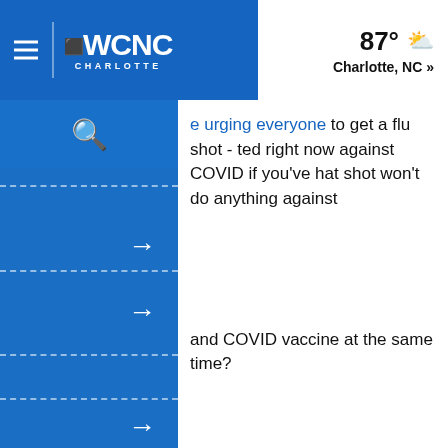[Figure (screenshot): WCNC Charlotte news website screenshot showing navigation bar with hamburger menu, WCNC Charlotte logo, weather showing 87° Charlotte NC, a blue sidebar with search icon and arrow navigation items with dashed separators, and article text about flu shots and COVID vaccines.]
WCNC Charlotte
e urging everyone to get a flu shot - ted right now against COVID if you've hat shot won't do anything against
and COVID vaccine at the same time?
rrespondent Dr. Sujatha Reddy
the CDC.